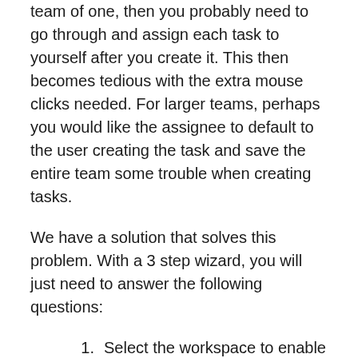team of one, then you probably need to go through and assign each task to yourself after you create it. This then becomes tedious with the extra mouse clicks needed. For larger teams, perhaps you would like the assignee to default to the user creating the task and save the entire team some trouble when creating tasks.
We have a solution that solves this problem. With a 3 step wizard, you will just need to answer the following questions:
Select the workspace to enable the feature on.
Should the auto assignment